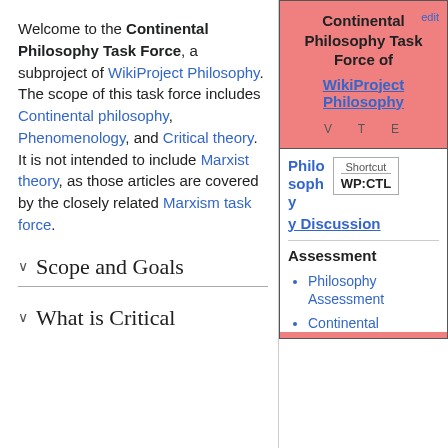Welcome to the Continental Philosophy Task Force, a subproject of WikiProject Philosophy. The scope of this task force includes Continental philosophy, Phenomenology, and Critical theory. It is not intended to include Marxist theory, as those articles are covered by the closely related Marxism task force.
Scope and Goals
What is Critical
| Continental Philosophy Task Force of WikiProject Philosophy | edit |
| V T E |  |
| Philosophy Discussion | Shortcut WP:CTL |
| Assessment |  |
| Philosophy Assessment |  |
| Continental |  |